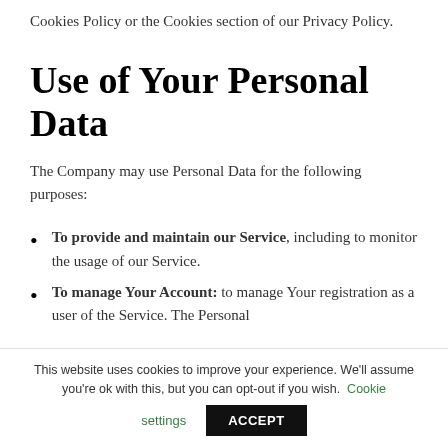Cookies Policy or the Cookies section of our Privacy Policy.
Use of Your Personal Data
The Company may use Personal Data for the following purposes:
To provide and maintain our Service, including to monitor the usage of our Service.
To manage Your Account: to manage Your registration as a user of the Service. The Personal
This website uses cookies to improve your experience. We'll assume you're ok with this, but you can opt-out if you wish. Cookie settings ACCEPT